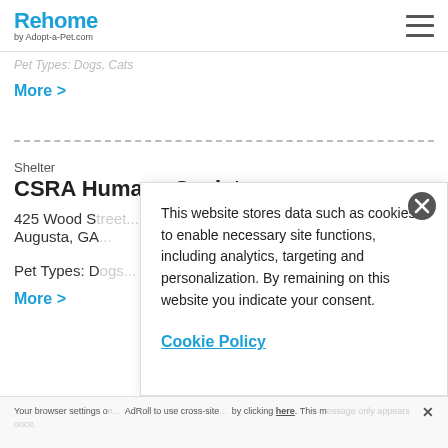Rehome by Adopt-a-Pet.com
Pet Types: Dogs, Cats
More >
Shelter
CSRA Humane Society
425 Wood S...
Augusta, GA...
Pet Types: D...
More >
This website stores data such as cookies to enable necessary site functions, including analytics, targeting and personalization. By remaining on this website you indicate your consent.
Cookie Policy
Your browser settings o... AdRoll to use cross-site... by clicking here. This m...essage only appears once.